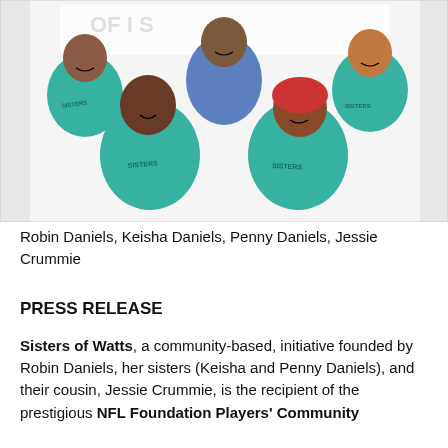[Figure (photo): Group photo of five women wearing teal 'Sisters of Watts' t-shirts, smiling in front of a banner. Robin Daniels, Keisha Daniels, Penny Daniels, Jessie Crummie.]
Robin Daniels, Keisha Daniels, Penny Daniels, Jessie Crummie
PRESS RELEASE
Sisters of Watts, a community-based, initiative founded by Robin Daniels, her sisters (Keisha and Penny Daniels), and their cousin, Jessie Crummie, is the recipient of the prestigious NFL Foundation Players' Community